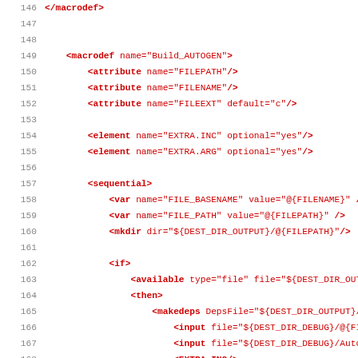Source code / XML build script fragment, lines 146-178, showing macrodef Build_AUTOGEN with attributes, elements, sequential block, if/available/makedeps, OnDependency/sourcefiles/targetfiles sections.